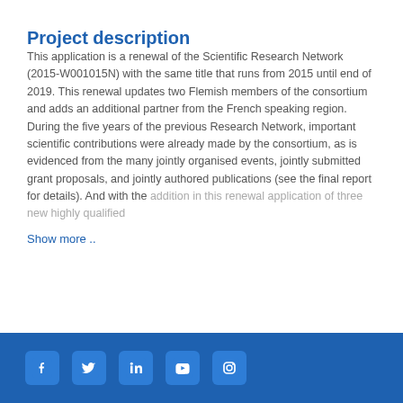Project description
This application is a renewal of the Scientific Research Network (2015-W001015N) with the same title that runs from 2015 until end of 2019. This renewal updates two Flemish members of the consortium and adds an additional partner from the French speaking region. During the five years of the previous Research Network, important scientific contributions were already made by the consortium, as is evidenced from the many jointly organised events, jointly submitted grant proposals, and jointly authored publications (see the final report for details). And with the addition in this renewal application of three new highly qualified
Show more ..
[Figure (infographic): Blue footer bar with social media icons: Facebook, Twitter, LinkedIn, YouTube, Instagram]